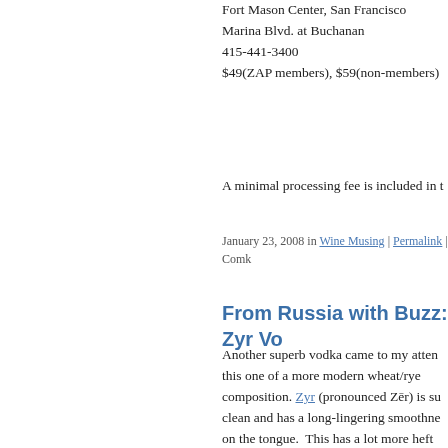Fort Mason Center, San Francisco
Marina Blvd. at Buchanan
415-441-3400
$49(ZAP members), $59(non-members)
A minimal processing fee is included in t
January 23, 2008 in Wine Musing | Permalink | Comk
From Russia with Buzz: Zyr Vo
Another superb vodka came to my atten this one of a more modern wheat/rye composition. Zyr (pronounced Zēr) is su clean and has a long-lingering smoothne on the tongue. This has a lot more heft than other vodkas I've tasted recently, perhaps because it is distilled five times before the proof adjustment with water. T character of a grain-based vodka also is different than one made from potatoes, b discovering. There is also a touch of sweetness on the palate that would mak a very fine cocktail. Recommended.